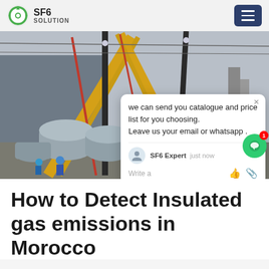SF6 SOLUTION
[Figure (photo): Industrial electrical substation scene with large cranes, high-voltage equipment, SF6 gas insulated switchgear cylinders in foreground, workers in hard hats, Chinese signage, overhead power line structures. SF6China watermark visible at bottom right. A chat popup overlay is visible on the right side reading: 'we can send you catalogue and price list for you choosing. Leave us your email or whatsapp .' with SF6 Expert / just now / Write a, and a green chat bubble button with badge showing 1.]
How to Detect Insulated gas emissions in Morocco